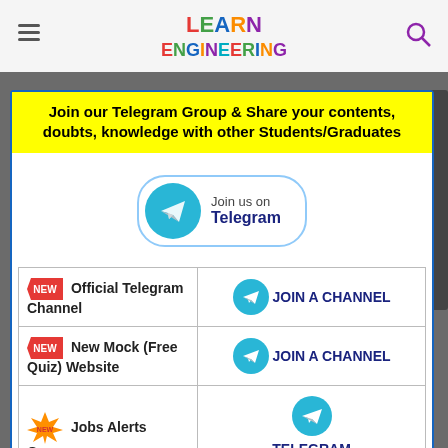[Figure (screenshot): Learn Engineering website header with hamburger menu, logo, and search icon]
Join our Telegram Group & Share your contents, doubts, knowledge with other Students/Graduates
[Figure (logo): Join us on Telegram button with Telegram icon]
| Channel/Group | Action |
| --- | --- |
| NEW Official Telegram Channel | JOIN A CHANNEL |
| NEW New Mock (Free Quiz) Website | JOIN A CHANNEL |
| NEW Jobs Alerts Group | TELEGRAM CHANNEL |